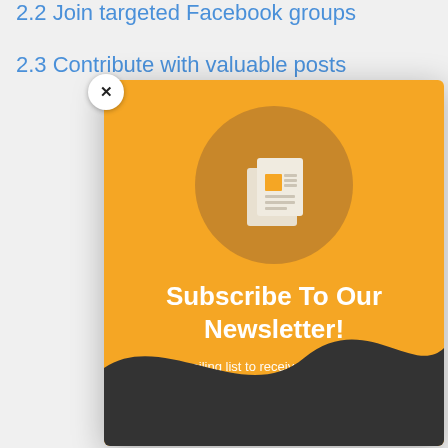2.2 Join targeted Facebook groups
2.3 Contribute with valuable posts
[Figure (screenshot): Newsletter subscription modal popup with orange background, gold circle containing newspaper icon, title 'Subscribe To Our Newsletter!', descriptive text, dark wave at bottom, and X close button in top-left corner.]